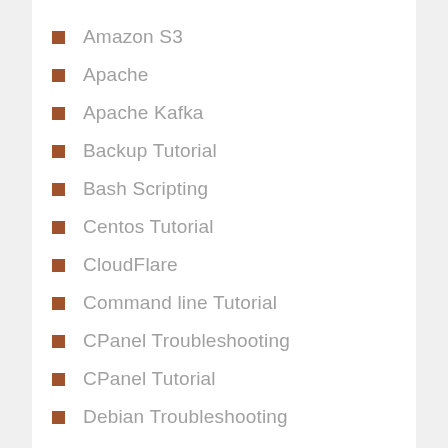Amazon S3
Apache
Apache Kafka
Backup Tutorial
Bash Scripting
Centos Tutorial
CloudFlare
Command line Tutorial
CPanel Troubleshooting
CPanel Tutorial
Debian Troubleshooting
Debian Tutorial
DKIM